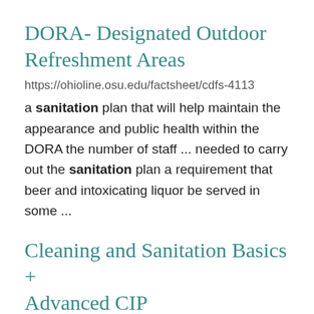DORA- Designated Outdoor Refreshment Areas
https://ohioline.osu.edu/factsheet/cdfs-4113
a sanitation plan that will help maintain the appearance and public health within the DORA the number of staff ... needed to carry out the sanitation plan a requirement that beer and intoxicating liquor be served in some ...
Cleaning and Sanitation Basics + Advanced CIP
https://foodindustries.osu.edu/sanitation